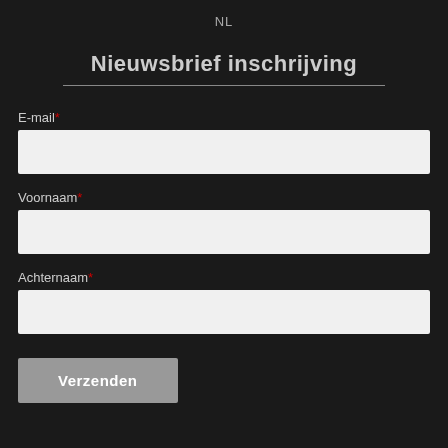NL
Nieuwsbrief inschrijving
E-mail*
Voornaam*
Achternaam*
Verzenden